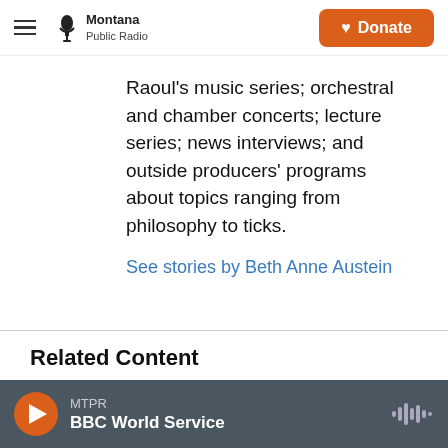Montana Public Radio | Donate
Raoul's music series; orchestral and chamber concerts; lecture series; news interviews; and outside producers' programs about topics ranging from philosophy to ticks.
See stories by Beth Anne Austein
Related Content
[Figure (photo): Partial photo of people, shown at bottom of page]
MTPR BBC World Service (player bar)